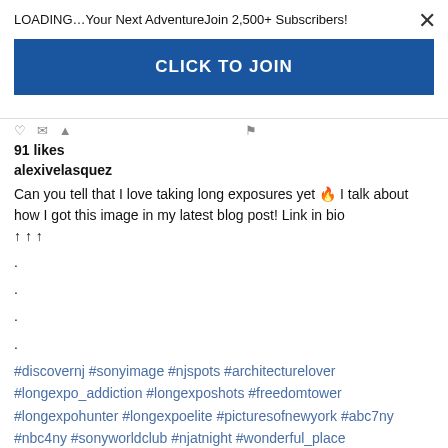LOADING…Your Next AdventureJoin 2,500+ Subscribers!
CLICK TO JOIN
91 likes
alexivelasquez
Can you tell that I love taking long exposures yet 🔥 I talk about how I got this image in my latest blog post! Link in bio ↑ ↑ ↑
.
.
.
.
#discovernj #sonyimage #njspots #architecturelover #longexpo_addiction #longexposhots #freedomtower #longexpohunter #longexpoelite #picturesofnewyork #abc7ny #nbc4ny #sonyworldclub #njatnight #wonderful_place #travelcaptures #nyc_explorers #nycphotographer #njphotographer #njphotography
view all 8 comments